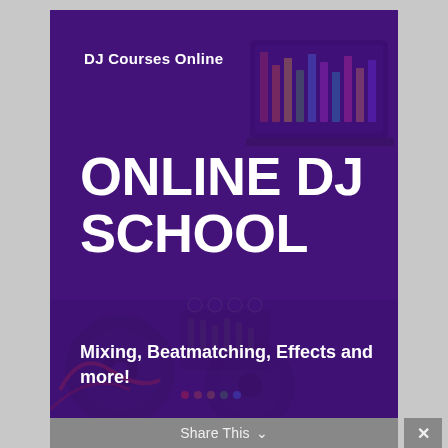[Figure (illustration): Banner image for an Online DJ School with a purple overlay over DJ equipment/turntables and a laptop. Contains text overlays showing site name, main title, and subtitle.]
DJ Courses Online
ONLINE DJ SCHOOL
Mixing, Beatmatching, Effects and more!
Share This ∨  ✕